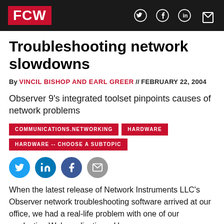FCW
Troubleshooting network slowdowns
By VINCIL BISHOP AND EARL GREER // FEBRUARY 22, 2004
Observer 9's integrated toolset pinpoints causes of network problems
COMMUNICATIONS.NETWORKING
HARDWARE
HARDWARE -- CHOOSE A SUBTOPIC
[Figure (infographic): Social sharing icons: Twitter, LinkedIn, Facebook, Email]
When the latest release of Network Instruments LLC's Observer network troubleshooting software arrived at our office, we had a real-life problem with one of our production Web applications. Users